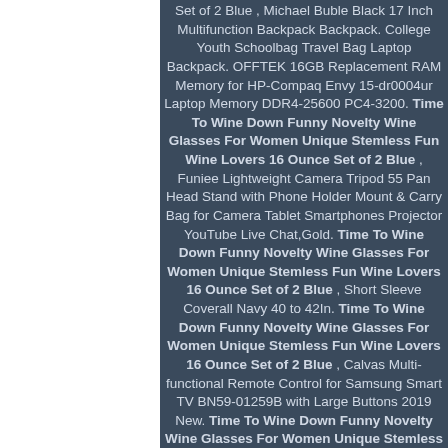Set of 2 Blue , Michael Buble Black 17 Inch Multifunction Backpack Backpack. College Youth Schoolbag Travel Bag Laptop Backpack. OFFTEK 16GB Replacement RAM Memory for HP-Compaq Envy 15-dr0004ur Laptop Memory DDR4-25600 PC4-3200. Time To Wine Down Funny Novelty Wine Glasses For Women Unique Stemless Fun Wine Lovers 16 Ounce Set of 2 Blue , Funiee Lightweight Camera Tripod 55 Pan Head Stand with Phone Holder Mount & Carry Bag for Camera Tablet Smartphones Projector YouTube Live Chat,Gold. Time To Wine Down Funny Novelty Wine Glasses For Women Unique Stemless Fun Wine Lovers 16 Ounce Set of 2 Blue , Short Sleeve Coverall Navy 40 to 42In. Time To Wine Down Funny Novelty Wine Glasses For Women Unique Stemless Fun Wine Lovers 16 Ounce Set of 2 Blue , Calvas Multi-functional Remote Control for Samsung Smart TV BN59-01259B with Large Buttons 2019 New. Time To Wine Down Funny Novelty Wine Glasses For Women Unique Stemless Fun Wine Lovers 16 Ounce Set of 2 Blue , Printer Parts Drum Unit for Eps0n C3900N C3900DN C3900DTN CX37 CX37DNF CX37DTN CX37DTNF Photoconductor Drum Unit, Time To Wine Down Funny Novelty Wine Glasses For